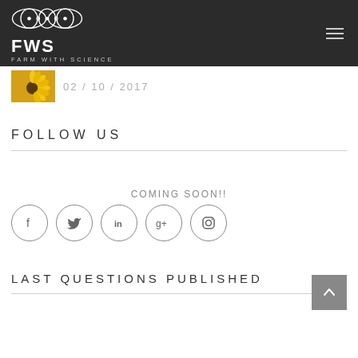FWS FARM WITH SCIENCE
02/10/2017
FOLLOW US
COMING SOON!!
[Figure (infographic): Social media icon buttons in circles: Facebook (f), Twitter (bird), LinkedIn (in), Google+ (g+), Instagram (camera)]
LAST QUESTIONS PUBLISHED